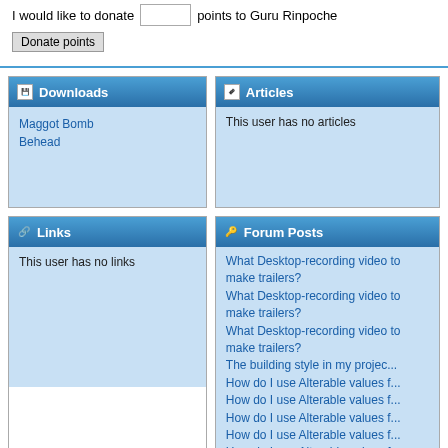I would like to donate [input] points to Guru Rinpoche
Donate points
Downloads
Maggot Bomb
Behead
Articles
This user has no articles
Links
This user has no links
Forum Posts
What Desktop-recording video to make trailers?
What Desktop-recording video to make trailers?
What Desktop-recording video to make trailers?
The building style in my project
How do I use Alterable values f...
How do I use Alterable values f...
How do I use Alterable values f...
How do I use Alterable values f...
How do I use Alterable values f...
Artificial Intelligence/life in MM...